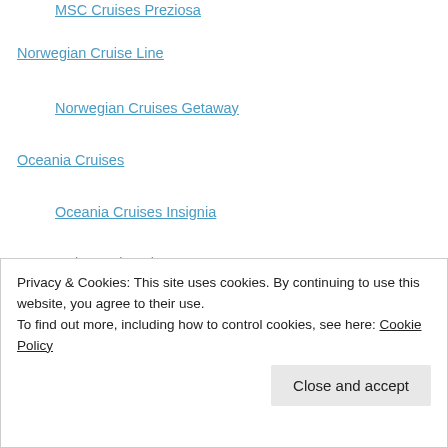MSC Cruises Preziosa
Norwegian Cruise Line
Norwegian Cruises Getaway
Oceania Cruises
Oceania Cruises Insignia
P&O Cruises Britannia
Paul Gauguin Cruises
Ponant
Princess Cruises
Sky Princess
Royal Princess
Royal Caribbean Cruises
Privacy & Cookies: This site uses cookies. By continuing to use this website, you agree to their use. To find out more, including how to control cookies, see here: Cookie Policy
Close and accept